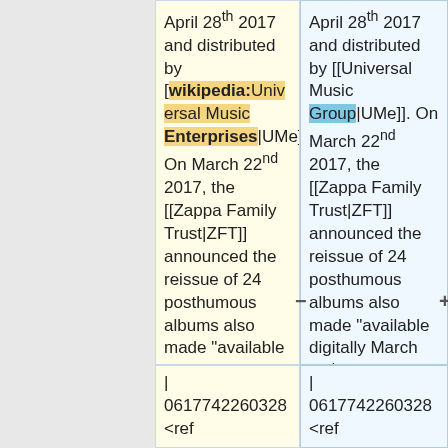| April 28th 2017 and distributed by [[wikipedia:Universal Music Enterprises|UMe]]. On March 22nd 2017, the [[Zappa Family Trust|ZFT]] announced the reissue of 24 posthumous albums also made "available digitally March 24th."</ref> | April 28th 2017 and distributed by [[Universal Music Group|UMe]]. On March 22nd 2017, the [[Zappa Family Trust|ZFT]] announced the reissue of 24 posthumous albums also made "available digitally March 24th."</ref> |
| | 0617742260328 <ref | | 0617742260328 <ref |